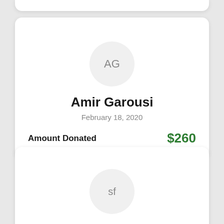AG
Amir Garousi
February 18, 2020
Amount Donated $260
sf
simona fletcher
February 18, 2020
Refua shlema Jonathan ben simona